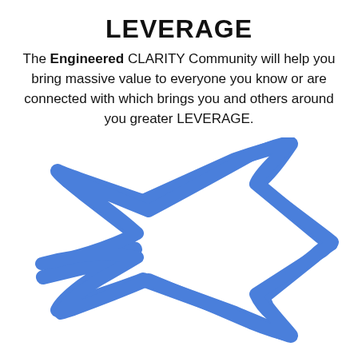LEVERAGE
The Engineered CLARITY Community will help you bring massive value to everyone you know or are connected with which brings you and others around you greater LEVERAGE.
[Figure (illustration): A hand-drawn style blue arrow pointing to the right, with a hollow interior outline, sketched in a thick blue stroke.]